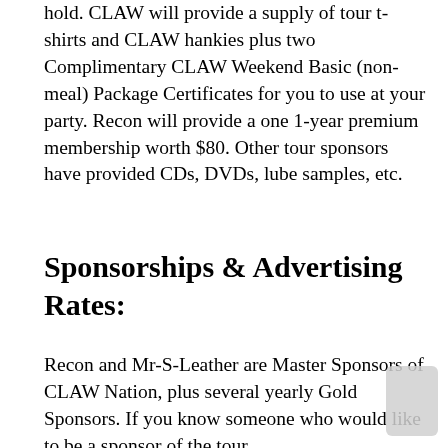hold. CLAW will provide a supply of tour t-shirts and CLAW hankies plus two Complimentary CLAW Weekend Basic (non-meal) Package Certificates for you to use at your party. Recon will provide a one 1-year premium membership worth $80. Other tour sponsors have provided CDs, DVDs, lube samples, etc.
Sponsorships & Advertising Rates:
Recon and Mr-S-Leather are Master Sponsors of CLAW Nation, plus several yearly Gold Sponsors. If you know someone who would like to be a sponsor of the tour,